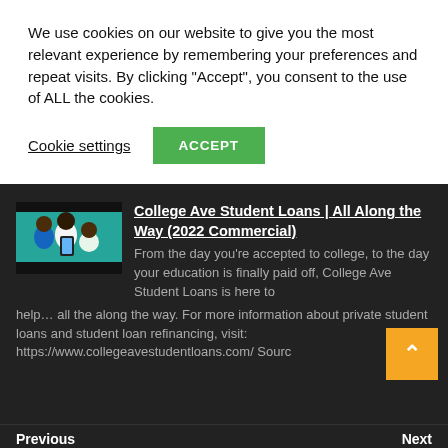We use cookies on our website to give you the most relevant experience by remembering your preferences and repeat visits. By clicking “Accept”, you consent to the use of ALL the cookies.
Cookie settings
ACCEPT
[Figure (illustration): Thumbnail image of College Ave Student Loans commercial showing animated characters - two young people and an adult looking at a phone, colorful illustrated style on teal background]
College Ave Student Loans | All Along the Way (2022 Commercial)
From the day you’re accepted to college, to the day your education is finally paid off, College Ave Student Loans is here to help… all the along the way. For more information about private student loans and student loan refinancing, visit: https://www.collegeavestudentloans.com/ Sourc
Previous                                                                Next